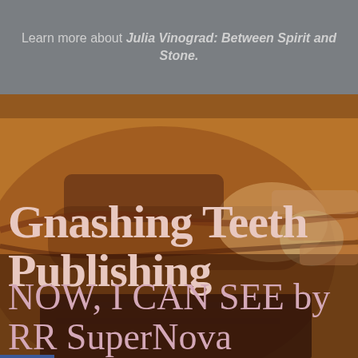Learn more about Julia Vinograd: Between Spirit and Stone.
Gnashing Teeth Publishing
words that get in your teeth
[Figure (logo): Facebook 'f' icon button in blue]
[Figure (other): Hamburger menu icon (three horizontal lines)]
[Figure (photo): Close-up artistic photo of gnashing teeth with amber/brown color treatment, showing mouth and fingers, serving as background image]
NOW, I CAN SEE by RR SuperNova